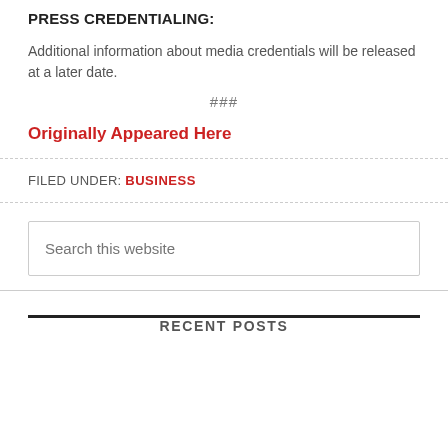PRESS CREDENTIALING:
Additional information about media credentials will be released at a later date.
###
Originally Appeared Here
FILED UNDER: BUSINESS
[Figure (other): Search box with placeholder text 'Search this website']
RECENT POSTS